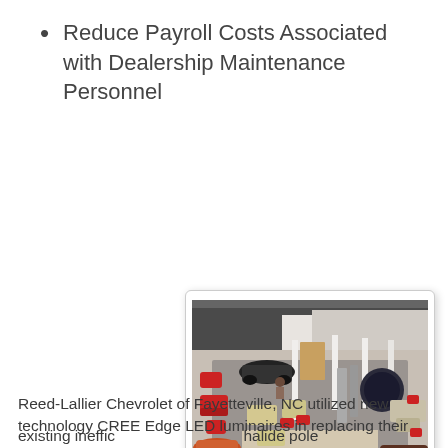Reduce Payroll Costs Associated with Dealership Maintenance Personnel
[Figure (illustration): Aerial 3D rendering of a car dealership showroom interior showing multiple vehicles, red seating areas, workstations, and open floor plan with modern lighting.]
Reed-Lallier Chevrolet of Fayetteville, NC utilized new technology CREE Edge LED luminaires in replacing their existing ineffic... halide pole...